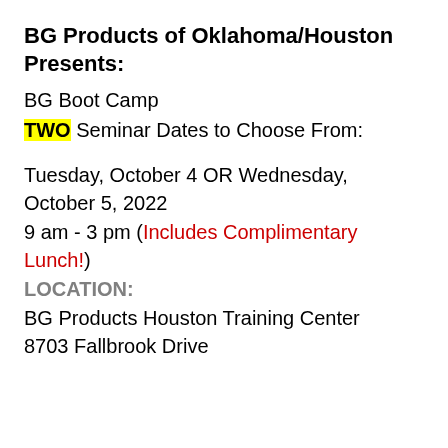BG Products of Oklahoma/Houston Presents:
BG Boot Camp
TWO Seminar Dates to Choose From:
Tuesday, October 4 OR Wednesday, October 5, 2022
9 am - 3 pm (Includes Complimentary Lunch!)
LOCATION:
BG Products Houston Training Center
8703 Fallbrook Drive